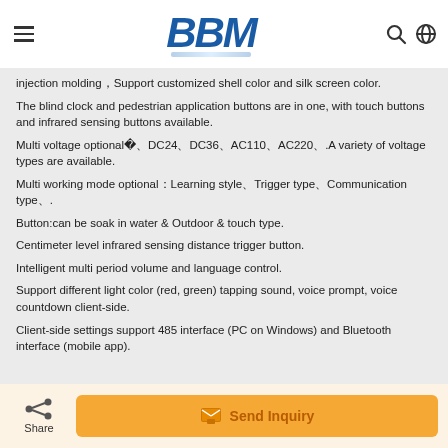BBM
injection molding，Support customized shell color and silk screen color.
The blind clock and pedestrian application buttons are in one, with touch buttons and infrared sensing buttons available.
Multi voltage optional：DC12、DC24、DC36、AC110、AC220、.A variety of voltage types are available.
Multi working mode optional：Learning style、Trigger type、Communication type、.
Button:can be soak in water & Outdoor & touch type.
Centimeter level infrared sensing distance trigger button.
Intelligent multi period volume and language control.
Support different light color (red, green) tapping sound, voice prompt, voice countdown client-side.
Client-side settings support 485 interface (PC on Windows) and Bluetooth interface (mobile app).
Share  Send Inquiry